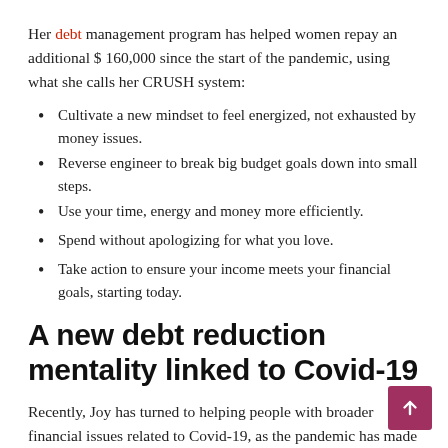Her debt management program has helped women repay an additional $ 160,000 since the start of the pandemic, using what she calls her CRUSH system:
Cultivate a new mindset to feel energized, not exhausted by money issues.
Reverse engineer to break big budget goals down into small steps.
Use your time, energy and money more efficiently.
Spend without apologizing for what you love.
Take action to ensure your income meets your financial goals, starting today.
A new debt reduction mentality linked to Covid-19
Recently, Joy has turned to helping people with broader financial issues related to Covid-19, as the pandemic has made